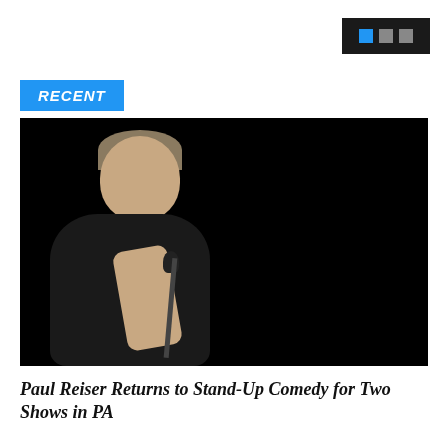[Figure (other): Navigation widget with three squares (first blue, others grey) on dark background in top right corner]
RECENT
[Figure (photo): A middle-aged man holding a microphone performing stand-up comedy on a dark stage]
Paul Reiser Returns to Stand-Up Comedy for Two Shows in PA